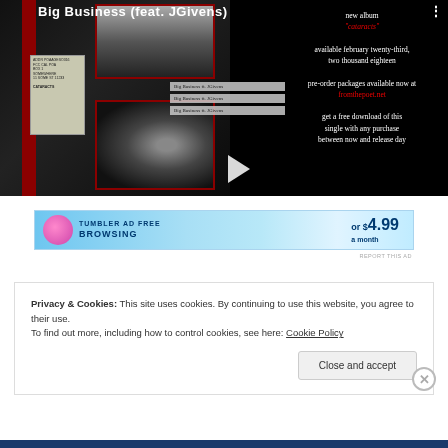[Figure (screenshot): Embedded video/promotional image for 'Big Business (feat. JGivens)' showing VHS tape aesthetic with dark background, eye imagery, tracklist, play button, and text about new album 'Cataracts' available February twenty-third two thousand eighteen with pre-order and free download info at fromthepoet.net]
[Figure (photo): Advertisement banner with pink circle logo, text 'TUMBLER AD FREE BROWSING' and price 'or $4.99 a month' on blue gradient background]
REPORT THIS AD
Privacy & Cookies: This site uses cookies. By continuing to use this website, you agree to their use.
To find out more, including how to control cookies, see here: Cookie Policy
Close and accept